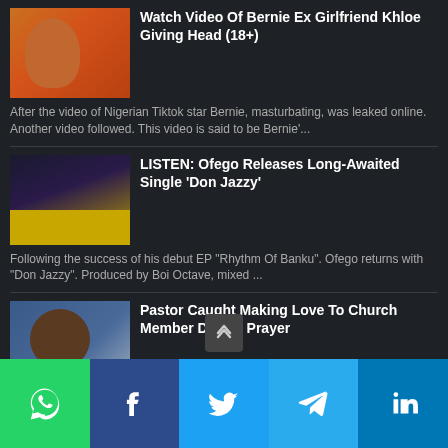Watch Video Of Bernie Ex Girlfriend Khloe Giving Head (18+)
After the video of Nigerian Tiktok star Bernie, masturbating, was leaked online. Another video followed. This video is said to be Bernie'...
LISTEN: Ofego Releases Long-Awaited Single 'Don Jazzy'
Following the success of his debut EP "Rhythm Of Banku". Ofego returns with "Don Jazzy". Produced by Boi Octave, mixed ...
Pastor Caught Making Love To Church Member During Prayer
Police officers in Warri, Delta State caught the pastor of Victory Revival Fasting And Prayer Ministry, Elijah Orhonigbe, for supposedly a...
[Figure (other): Social share buttons: WhatsApp, Facebook, Twitter, Telegram, LinkedIn]